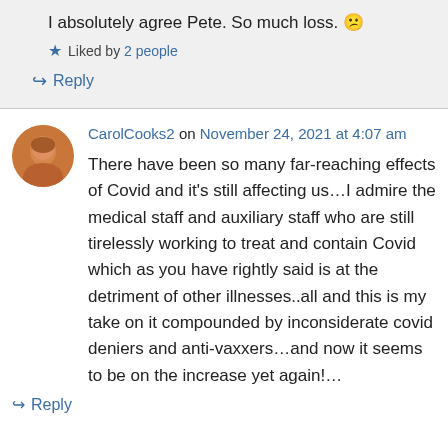I absolutely agree Pete. So much loss. 😕
★ Liked by 2 people
↪ Reply
CarolCooks2 on November 24, 2021 at 4:07 am
There have been so many far-reaching effects of Covid and it's still affecting us…I admire the medical staff and auxiliary staff who are still tirelessly working to treat and contain Covid which as you have rightly said is at the detriment of other illnesses..all and this is my take on it compounded by inconsiderate covid deniers and anti-vaxxers…and now it seems to be on the increase yet again!…